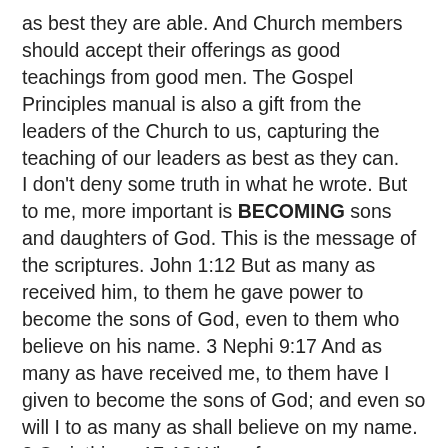as best they are able. And Church members should accept their offerings as good teachings from good men. The Gospel Principles manual is also a gift from the leaders of the Church to us, capturing the teaching of our leaders as best as they can. I don't deny some truth in what he wrote. But to me, more important is BECOMING sons and daughters of God. This is the message of the scriptures. John 1:12 But as many as received him, to them he gave power to become the sons of God, even to them who believe on his name. 3 Nephi 9:17 And as many as have received me, to them have I given to become the sons of God; and even so will I to as many as shall believe on my name. 2 Corinthians 17-18 Wherefore, come